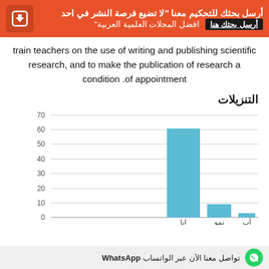[Figure (infographic): Orange banner with Arabic text: أرسل بحثك للتحكيم معنا - لا تضيع فرصة النشر في احد افضل المجلات العلمية العربية - أرسل بحثك هنا button and download icon]
train teachers on the use of writing and publishing scientific research, and to make the publication of research a condition of appointment.
التنزيلات
[Figure (bar-chart): التنزيلات]
تواصل معنا الآن عبر الواتساب WhatsApp